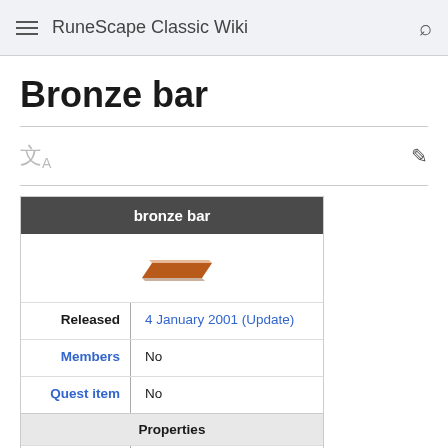RuneScape Classic Wiki
Bronze bar
| bronze bar |
| --- |
| [image of bronze bar] |
| Released | 4 January 2001 (Update) |
| Members | No |
| Quest item | No |
| Properties |
| Tradeable | Yes |